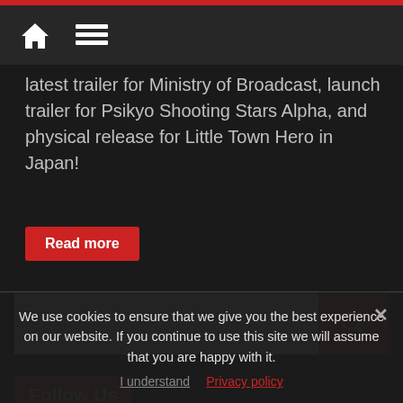latest trailer for Ministry of Broadcast, launch trailer for Psikyo Shooting Stars Alpha, and physical release for Little Town Hero in Japan!
Read more
[Figure (screenshot): Search bar with red search button]
Follow Us
[Figure (screenshot): Social media icons: Twitter, RSS, YouTube]
We use cookies to ensure that we give you the best experience on our website. If you continue to use this site we will assume that you are happy with it.
I understand   Privacy policy